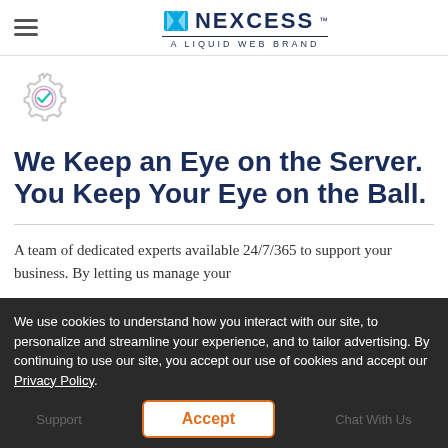NEXCESS — A LIQUID WEB BRAND
[Figure (illustration): Gear icon with a checkmark inside, colored light gray and purple/pink outline with a teal checkmark]
We Keep an Eye on the Server. You Keep Your Eye on the Ball.
A team of dedicated experts available 24/7/365 to support your business. By letting us manage your
We use cookies to understand how you interact with our site, to personalize and streamline your experience, and to tailor advertising. By continuing to use our site, you accept our use of cookies and accept our Privacy Policy.